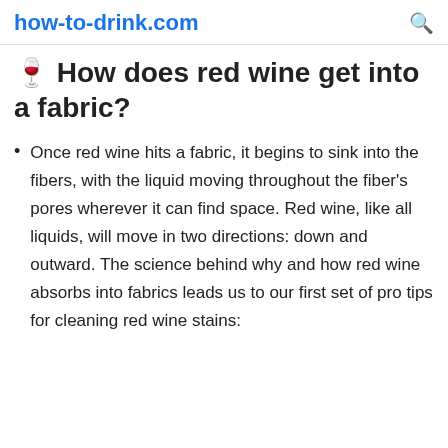how-to-drink.com
🍷 How does red wine get into a fabric?
Once red wine hits a fabric, it begins to sink into the fibers, with the liquid moving throughout the fiber's pores wherever it can find space. Red wine, like all liquids, will move in two directions: down and outward. The science behind why and how red wine absorbs into fabrics leads us to our first set of pro tips for cleaning red wine stains: